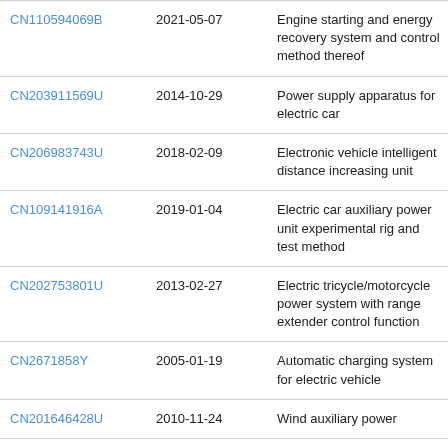| Patent ID | Date | Title |
| --- | --- | --- |
| CN110594069B | 2021-05-07 | Engine starting and energy recovery system and control method thereof |
| CN203911569U | 2014-10-29 | Power supply apparatus for electric car |
| CN206983743U | 2018-02-09 | Electronic vehicle intelligent distance increasing unit |
| CN109141916A | 2019-01-04 | Electric car auxiliary power unit experimental rig and test method |
| CN202753801U | 2013-02-27 | Electric tricycle/motorcycle power system with range extender control function |
| CN2671858Y | 2005-01-19 | Automatic charging system for electric vehicle |
| CN201646428U | 2010-11-24 | Wind auxiliary power... |